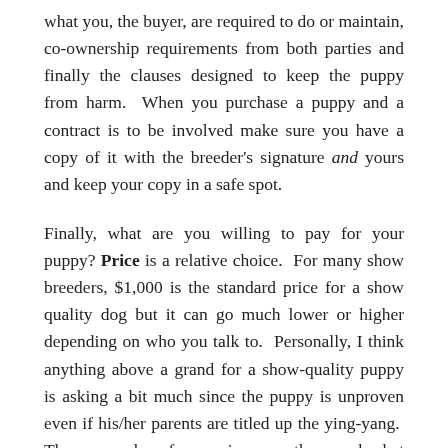what you, the buyer, are required to do or maintain, co-ownership requirements from both parties and finally the clauses designed to keep the puppy from harm. When you purchase a puppy and a contract is to be involved make sure you have a copy of it with the breeder's signature and yours and keep your copy in a safe spot.
Finally, what are you willing to pay for your puppy? Price is a relative choice. For many show breeders, $1,000 is the standard price for a show quality dog but it can go much lower or higher depending on who you talk to. Personally, I think anything above a grand for a show-quality puppy is asking a bit much since the puppy is unproven even if his/her parents are titled up the ying-yang. The personal preference is yours there and what you feel you can afford but remember that a puppy is a gamble and that puppy may or may not turn out.
Once you have that squared away and figured out, you only